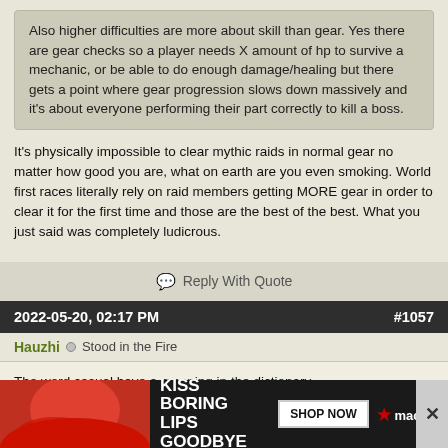Also higher difficulties are more about skill than gear. Yes there are gear checks so a player needs X amount of hp to survive a mechanic, or be able to do enough damage/healing but there gets a point where gear progression slows down massively and it's about everyone performing their part correctly to kill a boss.
It's physically impossible to clear mythic raids in normal gear no matter how good you are, what on earth are you even smoking. World first races literally rely on raid members getting MORE gear in order to clear it for the first time and those are the best of the best. What you just said was completely ludicrous.
Reply With Quote
2022-05-20, 02:17 PM   #1057
Hauzhi  Stood in the Fire
The word casual have a meaning in the dictionary.
We need to find a new word to describe people that log in everyday but don't want serious business or someone who wants but have no skill or is not willing to learn more.
A casua...
[Figure (photo): Macy's advertisement banner: 'KISS BORING LIPS GOODBYE' with SHOP NOW button and Macy's star logo, showing a woman's face with red lips]